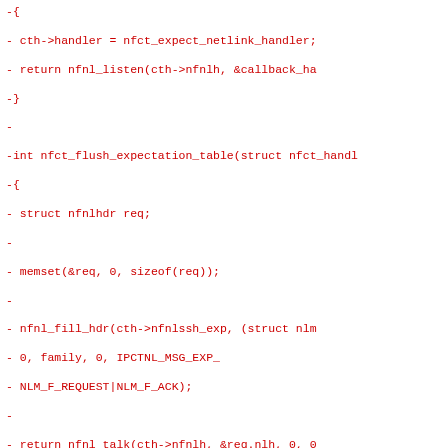Diff/patch code block showing removed lines and git diff headers for deprecated Makefile.am files